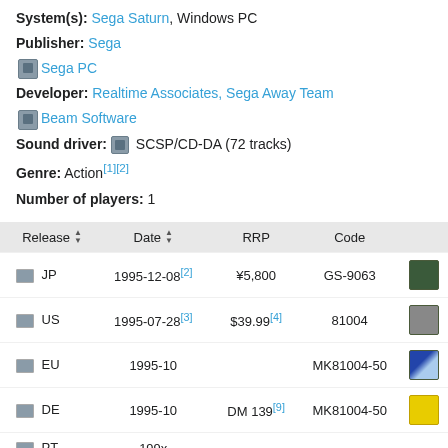System(s): Sega Saturn, Windows PC
Publisher: Sega
Sega PC
Developer: Realtime Associates, Sega Away Team
Beam Software
Sound driver: SCSP/CD-DA (72 tracks)
Genre: Action[1][2]
Number of players: 1
| Release | Date | RRP | Code |
| --- | --- | --- | --- |
| JP | 1995-12-08[2] | ¥5,800 | GS-9063 |
| US | 1995-07-28[3] | $39.99[4] | 81004 |
| EU | 1995-10 |  | MK81004-50 |
| DE | 1995-10 | DM 139[9] | MK81004-50 |
| PT | 199x |  |  |
| UK | 1995-09-15[5][6] | £49.99[7][8] | MK81004-50 |
| PL | 1996 | 199zł |  |